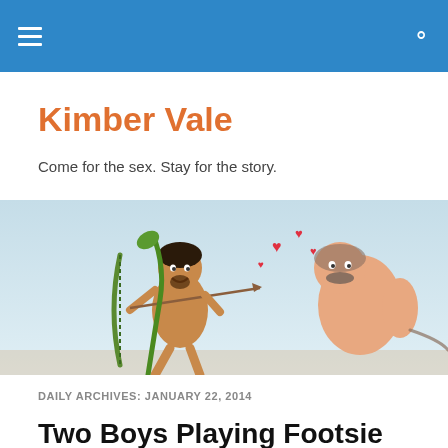Kimber Vale — navigation header bar
Kimber Vale
Come for the sex. Stay for the story.
[Figure (illustration): Cartoon illustration of two male figures, one drawing a bow and arrow (styled like Cupid) shooting at the other, with red hearts floating between them. Light blue background.]
DAILY ARCHIVES: JANUARY 22, 2014
Two Boys Playing Footsie
So, there I was doing my final editing pass on Double Takes, when I decided to add the term “footsie.” Now, I’m sure I’ve written about couples nudging each other under